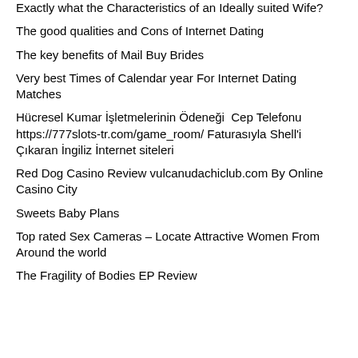Exactly what the Characteristics of an Ideally suited Wife?
The good qualities and Cons of Internet Dating
The key benefits of Mail Buy Brides
Very best Times of Calendar year For Internet Dating Matches
Hücresel Kumar İşletmelerinin Ödeneği  Cep Telefonu https://777slots-tr.com/game_room/ Faturasıyla Shell'i Çıkaran İngiliz İnternet siteleri
Red Dog Casino Review vulcanudachiclub.com By Online Casino City
Sweets Baby Plans
Top rated Sex Cameras – Locate Attractive Women From Around the world
The Fragility of Bodies EP Review